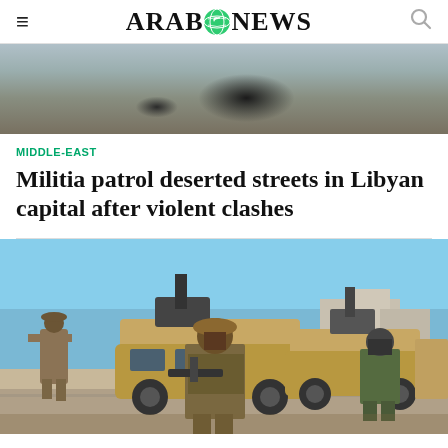Arab News (logo)
[Figure (photo): Aerial or ground view of a dark burn/scorch mark on dusty ground in Libya]
MIDDLE-EAST
Militia patrol deserted streets in Libyan capital after violent clashes
[Figure (photo): Armed militia members standing near armored military vehicles with mounted guns on a road in Tripoli, Libya]